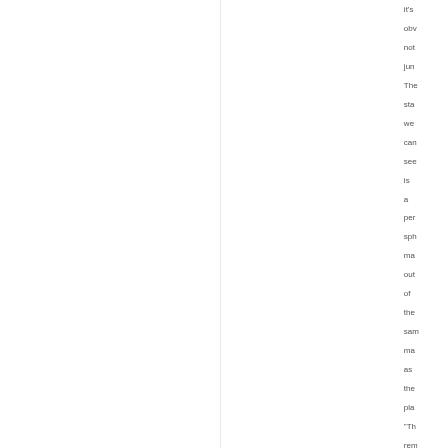it's obviously not junk. The standard we can see is a person sph map out of the same map as the pla
"Th rem